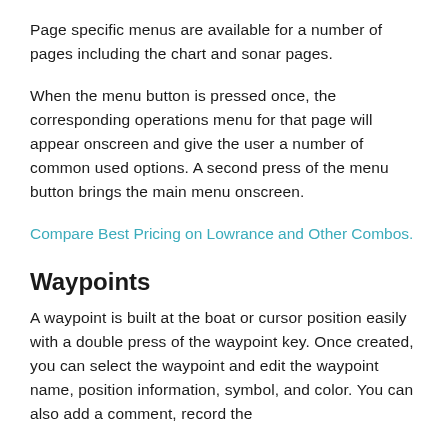Page specific menus are available for a number of pages including the chart and sonar pages.
When the menu button is pressed once, the corresponding operations menu for that page will appear onscreen and give the user a number of common used options. A second press of the menu button brings the main menu onscreen.
Compare Best Pricing on Lowrance and Other Combos.
Waypoints
A waypoint is built at the boat or cursor position easily with a double press of the waypoint key. Once created, you can select the waypoint and edit the waypoint name, position information, symbol, and color. You can also add a comment, record the